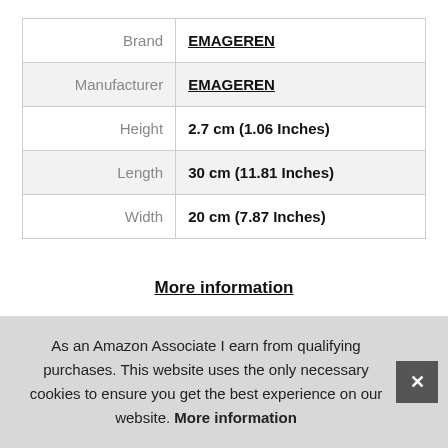| Attribute | Value |
| --- | --- |
| Brand | EMAGEREN |
| Manufacturer | EMAGEREN |
| Height | 2.7 cm (1.06 Inches) |
| Length | 30 cm (11.81 Inches) |
| Width | 20 cm (7.87 Inches) |
More information
5.
As an Amazon Associate I earn from qualifying purchases. This website uses the only necessary cookies to ensure you get the best experience on our website. More information